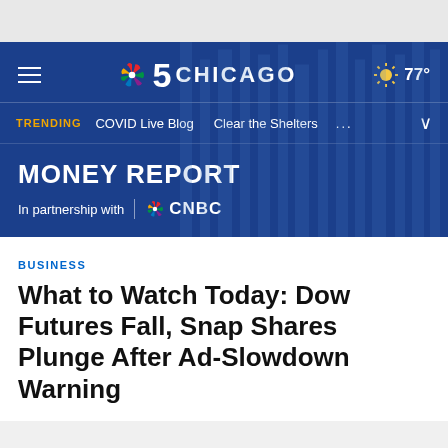[Figure (screenshot): NBC 5 Chicago website header banner with dark blue background showing NBC peacock logo, channel number 5, CHICAGO text, weather showing 77 degrees, trending navigation bar with COVID Live Blog and Clear the Shelters links, and Money Report section in partnership with CNBC]
BUSINESS
What to Watch Today: Dow Futures Fall, Snap Shares Plunge After Ad-Slowdown Warning